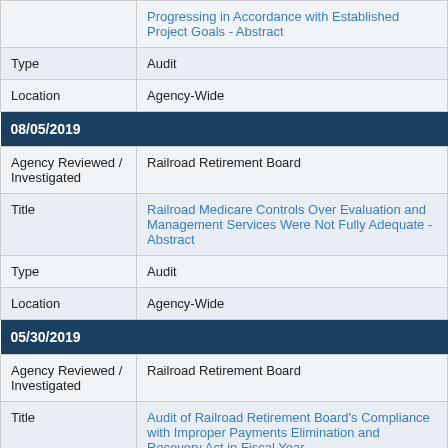|  | Progressing in Accordance with Established Project Goals - Abstract |
| Type | Audit |
| Location | Agency-Wide |
| 08/05/2019 |  |
| Agency Reviewed / Investigated | Railroad Retirement Board |
| Title | Railroad Medicare Controls Over Evaluation and Management Services Were Not Fully Adequate - Abstract |
| Type | Audit |
| Location | Agency-Wide |
| 05/30/2019 |  |
| Agency Reviewed / Investigated | Railroad Retirement Board |
| Title | Audit of Railroad Retirement Board's Compliance with Improper Payments Elimination and Recovery Act in Fiscal Year |